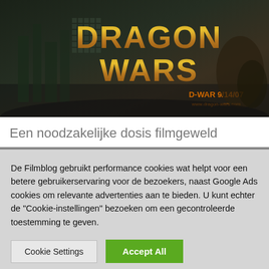[Figure (photo): Movie poster for Dragon Wars (D-War), showing the title in large gold letters with a dark cityscape background. Text reads 'DRAGON WARS D-WAR 9/14/07 www.dragon-wars.com']
Een noodzakelijke dosis filmgeweld
De Filmblog gebruikt performance cookies wat helpt voor een betere gebruikerservaring voor de bezoekers, naast Google Ads cookies om relevante advertenties aan te bieden. U kunt echter de "Cookie-instellingen" bezoeken om een gecontroleerde toestemming te geven.
Cookie Settings
Accept All